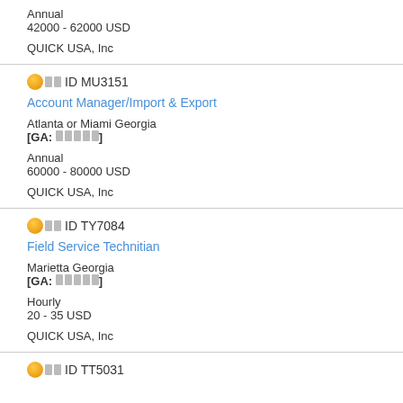Annual
42000 - 62000 USD
QUICK USA, Inc
🟠ID MU3151
Account Manager/Import & Export
Atlanta or Miami Georgia
[GA: █████]
Annual
60000 - 80000 USD
QUICK USA, Inc
🟠ID TY7084
Field Service Technitian
Marietta Georgia
[GA: █████]
Hourly
20 - 35 USD
QUICK USA, Inc
🟠ID TT5031